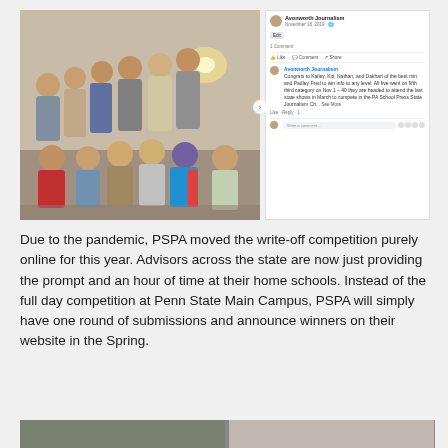[Figure (photo): Group photo of approximately 10-11 students posing together indoors, likely in a school or university hallway. Some students are standing, some sitting on the floor. Alongside the photo is a Facebook post screenshot showing a congratulatory message about a PA School Press journalism competition.]
Due to the pandemic, PSPA moved the write-off competition purely online for this year. Advisors across the state are now just providing the prompt and an hour of time at their home schools. Instead of the full day competition at Penn State Main Campus, PSPA will simply have one round of submissions and announce winners on their website in the Spring.
[Figure (photo): Partial bottom strip showing two images side by side, cropped at the bottom of the page.]